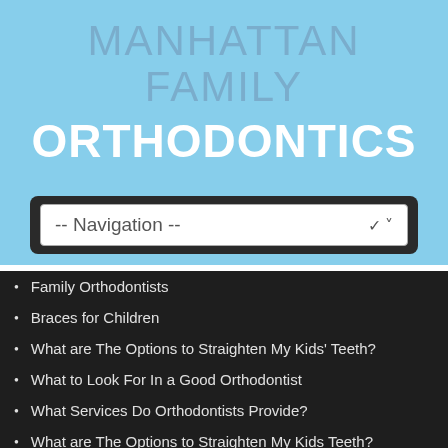MANHATTAN FAMILY ORTHODONTICS
[Figure (screenshot): Navigation dropdown bar with text '-- Navigation --' and a chevron icon, on a dark rounded background]
Family Orthodontists
Braces for Children
What are The Options to Straighten My Kids' Teeth?
What to Look For In a Good Orthodontist
What Services Do Orthodontists Provide?
What are The Options to Straighten My Kids Teeth?
What Are The Different Types Of Braces?
Metal Braces vs. Invisible Aligners
Kids Braces: What to Expect...